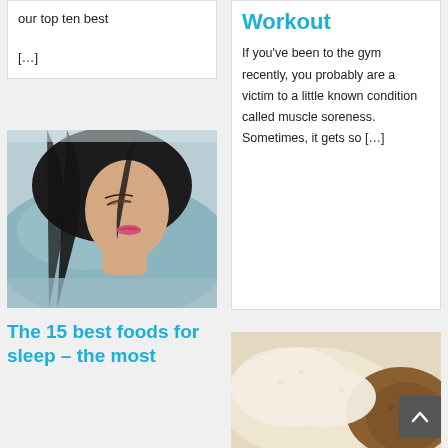our top ten best
[…]
Workout
If you've been to the gym recently, you probably are a victim to a little known condition called muscle soreness. Sometimes, it gets so […]
[Figure (photo): A woman sleeping on a light blue pillow, viewed from above, with dark hair and pink lipstick, hand near face.]
The 15 best foods for sleep – the most
[Figure (photo): Close-up of light-colored powder (possibly protein powder or flour) with some brown powder, suggesting food ingredients.]